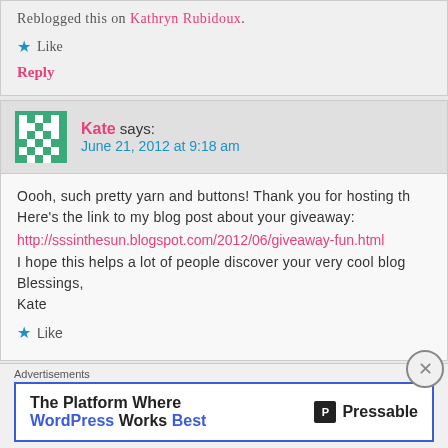Reblogged this on Kathryn Rubidoux.
Like
Reply
Kate says:
June 21, 2012 at 9:18 am
Oooh, such pretty yarn and buttons! Thank you for hosting th Here's the link to my blog post about your giveaway:
http://sssinthesun.blogspot.com/2012/06/giveaway-fun.html
I hope this helps a lot of people discover your very cool blog Blessings,
Kate
Like
Advertisements
[Figure (screenshot): Pressable WordPress advertisement banner: 'The Platform Where WordPress Works Best']